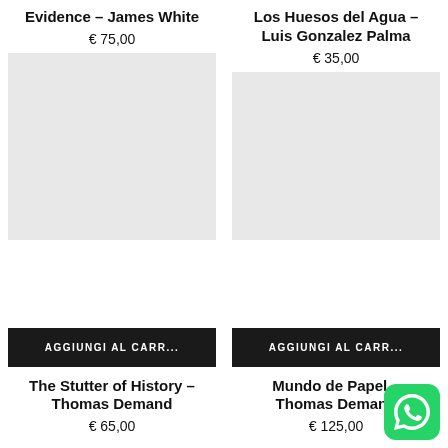Evidence – James White
€ 75,00
Los Huesos del Agua – Luis Gonzalez Palma
€ 35,00
AGGIUNGI AL CARR...
The Stutter of History – Thomas Demand
€ 65,00
AGGIUNGI AL CARR...
Mundo de Papel – Thomas Demand
€ 125,00